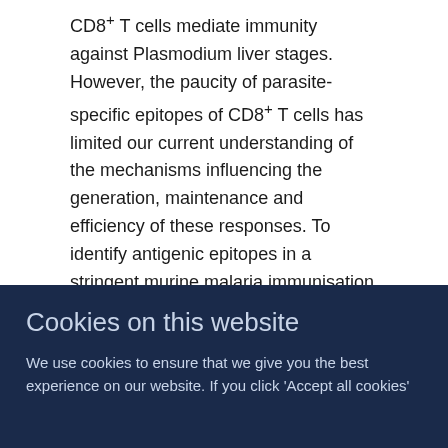CD8+ T cells mediate immunity against Plasmodium liver stages. However, the paucity of parasite-specific epitopes of CD8+ T cells has limited our current understanding of the mechanisms influencing the generation, maintenance and efficiency of these responses. To identify antigenic epitopes in a stringent murine malaria immunisation model, we performed a systematic profiling of H(2b)-restricted peptides predicted from genome-wide analysis. We describe the identification of Plasmodium berghei (Pb) sporozoite-specific gene 20 (S20)- and thrombospondin-related adhesive protein (TRAP)-derived peptides, termed PbS20318 and PbTRAP130 respectively, as targets of CD8+ T cells from C57BL/6 mice vaccinated by whole parasite strategies known to protect against sporozoite challenge. While both PbS20318 and PbTRAP130 elicit effector and effector memory phenotypes in both the spleens and
Cookies on this website
We use cookies to ensure that we give you the best experience on our website. If you click 'Accept all cookies'